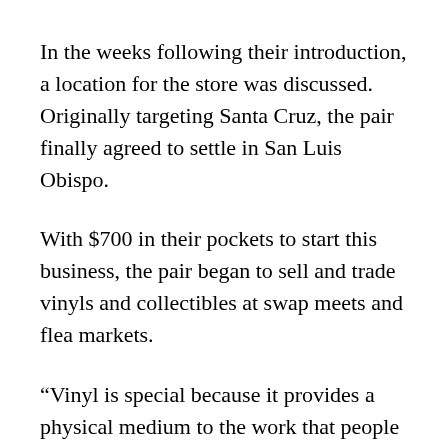In the weeks following their introduction, a location for the store was discussed. Originally targeting Santa Cruz, the pair finally agreed to settle in San Luis Obispo.
With $700 in their pockets to start this business, the pair began to sell and trade vinyls and collectibles at swap meets and flea markets.
“Vinyl is special because it provides a physical medium to the work that people put into the music they create,” Griffith said. “You can see the grooves, hold it in